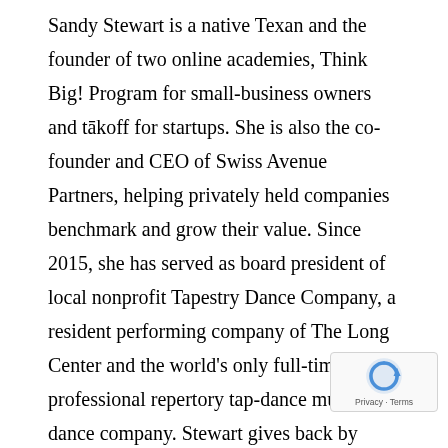Sandy Stewart is a native Texan and the founder of two online academies, Think Big! Program for small-business owners and tākoff for startups. She is also the co-founder and CEO of Swiss Avenue Partners, helping privately held companies benchmark and grow their value. Since 2015, she has served as board president of local nonprofit Tapestry Dance Company, a resident performing company of The Long Center and the world's only full-time professional repertory tap-dance multiform dance company. Stewart gives back by serving as aboard member since 2011 for the University of Texas Austin chapter of AIESEC, or Association Internationale des Étudiants en Sciences Économiques et Commerciales, the world's largest student-run nonprofit focused on youth-leadership development. Through her work to help Tapestry relocate, she has become an advocate for the Austin arts community to drive support for its growing needs. Stewart enjoys learning to tap dance, is heavily inv... the local music scene and can be found holding planning sessions
[Figure (other): reCAPTCHA badge overlay in bottom-right corner showing a circular arrow logo and 'Privacy - Terms' text]